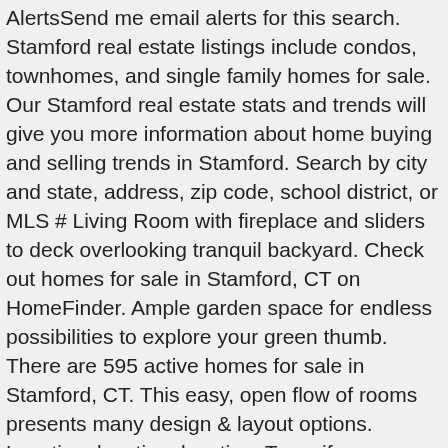AlertsSend me email alerts for this search. Stamford real estate listings include condos, townhomes, and single family homes for sale. Our Stamford real estate stats and trends will give you more information about home buying and selling trends in Stamford. Search by city and state, address, zip code, school district, or MLS # Living Room with fireplace and sliders to deck overlooking tranquil backyard. Check out homes for sale in Stamford, CT on HomeFinder. Ample garden space for endless possibilities to explore your green thumb. There are 595 active homes for sale in Stamford, CT. This easy, open flow of rooms presents many design & layout options. Location, location, location. To verify enrollment eligibility for a property, contact the school directly. Complete privacy exists at the end of a long New England driveway. Get an amazing deal by purchasing a property under market value in the area that you are interested in. Located just minutes away from Merritt Parkway, Stamford Nature Center, groceries, and schools. The location is quiet, yet close to all that downtown has to